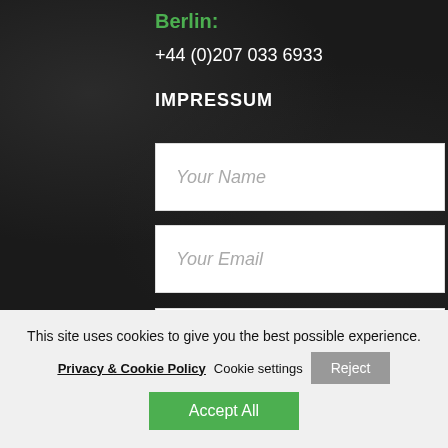Berlin:
+44 (0)207 033 6933
IMPRESSUM
Your Name
Your Email
Contact Number
This site uses cookies to give you the best possible experience.
Privacy & Cookie Policy  Cookie settings  Reject
Accept All